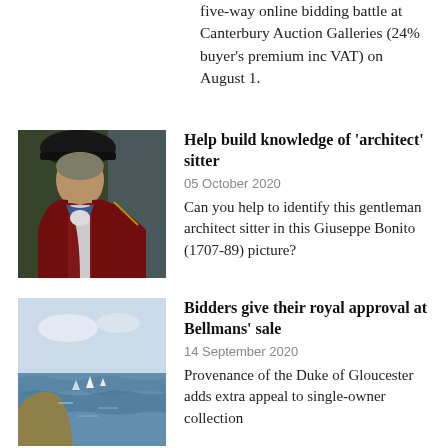five-way online bidding battle at Canterbury Auction Galleries (24% buyer's premium inc VAT) on August 1.
[Figure (photo): Portrait painting of a gentleman in 18th century attire, red coat and hat]
Help build knowledge of ‘architect’ sitter
05 October 2020
Can you help to identify this gentleman architect sitter in this Giuseppe Bonito (1707-89) picture?
[Figure (photo): Impressionist-style seascape painting with coastline, water and sky]
Bidders give their royal approval at Bellmans’ sale
14 September 2020
Provenance of the Duke of Gloucester adds extra appeal to single-owner collection